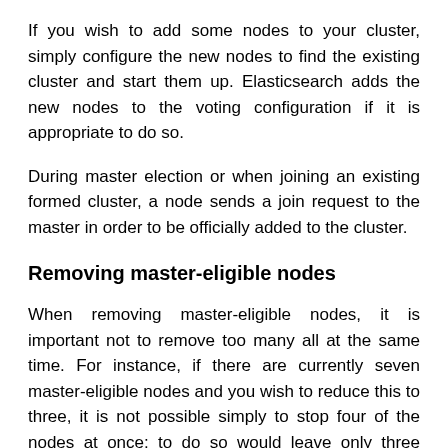If you wish to add some nodes to your cluster, simply configure the new nodes to find the existing cluster and start them up. Elasticsearch adds the new nodes to the voting configuration if it is appropriate to do so.
During master election or when joining an existing formed cluster, a node sends a join request to the master in order to be officially added to the cluster.
Removing master-eligible nodes
When removing master-eligible nodes, it is important not to remove too many all at the same time. For instance, if there are currently seven master-eligible nodes and you wish to reduce this to three, it is not possible simply to stop four of the nodes at once: to do so would leave only three nodes remaining, which is less than half of the voting configuration, which means the cluster cannot take any further actions.